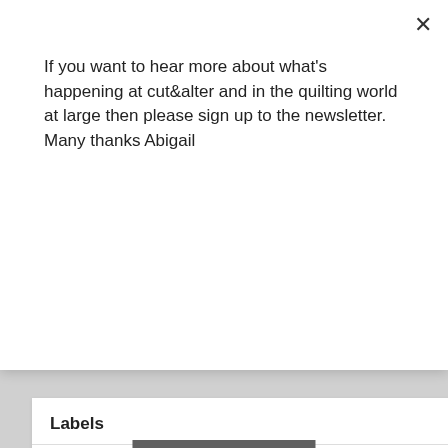If you want to hear more about what's happening at cut&alter and in the quilting world at large then please sign up to the newsletter. Many thanks Abigail
Subscribe
Labels
2018FAL  2018FALQ1  2018FALQ2  applique  ATC  blog hop  blogging community  book review  books  charity quilt  Christmas  community  creativity  crochet  cushion  design  finish-along  finished project  FMQ  giveaway  great days out  handmade  handmade presents  handmade toys  handmade.